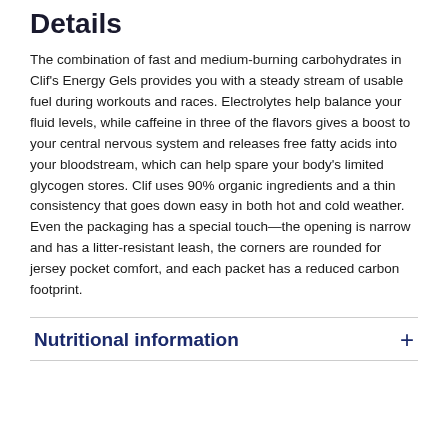Details
The combination of fast and medium-burning carbohydrates in Clif's Energy Gels provides you with a steady stream of usable fuel during workouts and races. Electrolytes help balance your fluid levels, while caffeine in three of the flavors gives a boost to your central nervous system and releases free fatty acids into your bloodstream, which can help spare your body's limited glycogen stores. Clif uses 90% organic ingredients and a thin consistency that goes down easy in both hot and cold weather. Even the packaging has a special touch—the opening is narrow and has a litter-resistant leash, the corners are rounded for jersey pocket comfort, and each packet has a reduced carbon footprint.
Nutritional information